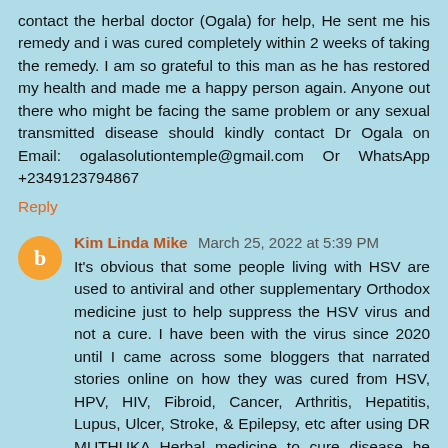contact the herbal doctor (Ogala) for help, He sent me his remedy and i was cured completely within 2 weeks of taking the remedy. I am so grateful to this man as he has restored my health and made me a happy person again. Anyone out there who might be facing the same problem or any sexual transmitted disease should kindly contact Dr Ogala on Email: ogalasolutiontemple@gmail.com Or WhatsApp +2349123794867
Reply
Kim Linda Mike  March 25, 2022 at 5:39 PM
It's obvious that some people living with HSV are used to antiviral and other supplementary Orthodox medicine just to help suppress the HSV virus and not a cure. I have been with the virus since 2020 until I came across some bloggers that narrated stories online on how they was cured from HSV, HPV, HIV, Fibroid, Cancer, Arthritis, Hepatitis, Lupus, Ulcer, Stroke, & Epilepsy, etc after using DR MUTHUKA Herbal medicine to cure disease he lived in africa. This is a year and 2 weeks since I was cured from genital Herpes. All thanks to God for using this Great